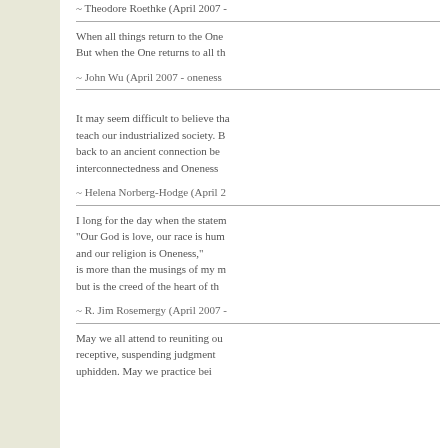~ Theodore Roethke (April 2007...
When all things return to the One
But when the One returns to all th...
~ John Wu (April 2007 - oneness...
It may seem difficult to believe tha... teach our industrialized society. B... back to an ancient connection be... interconnectedness and Oneness...
~ Helena Norberg-Hodge (April 2...
I long for the day when the statem... "Our God is love, our race is hum... and our religion is Oneness," is more than the musings of my m... but is the creed of the heart of th...
~ R. Jim Rosemergy (April 2007 -...
May we all attend to reuniting ou... receptive, suspending judgment... uphidden. May we practice bei...